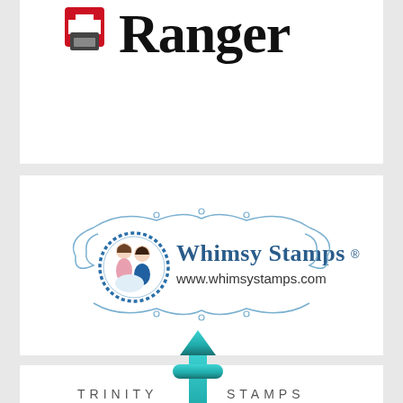[Figure (logo): Ranger Ink brand logo — partial view showing stylized 'Ranger' text with a red cross icon and small printer/ink imagery]
[Figure (logo): Whimsy Stamps logo — circular badge with two illustrated characters, decorative flourish border, text 'Whimsy Stamps®' and 'www.whimsystamps.com']
[Figure (logo): Trinity Stamps logo — stylized teal/turquoise lowercase letter 't' with spade-like top, flanked by 'TRINITY' and 'STAMPS' in spaced small-caps lettering]